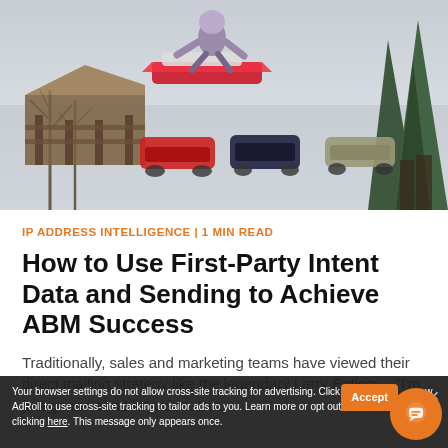[Figure (photo): Snowmobiler jumping in the air over other parked snowmobiles, with a wooden ramp structure on the left and trees in the background, winter scene with snow on the ground.]
IP ADDRESS INTELLIGENCE | 1 MIN READ
How to Use First-Party Intent Data and Sending to Achieve ABM Success
Traditionally, sales and marketing teams have viewed their direct mailing strategy like the legendary Larry Enticer – "I'm just gonna send it!" video. But...
Your browser settings do not allow cross-site tracking for advertising. Click on this to allow AdRoll to use cross-site tracking to tailor ads to you. Learn more or opt out of this Ad... ing by clicking here. This message only appears once.